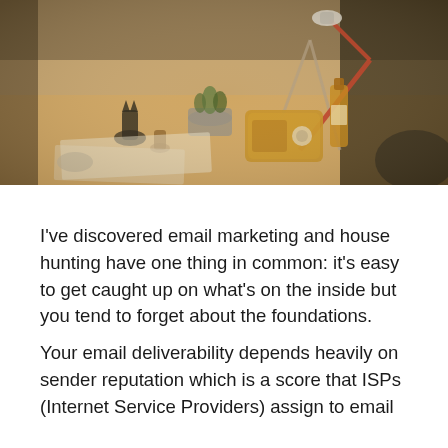[Figure (photo): Overhead/angled photo of a creative workspace desk with a red desk lamp, small succulent plant in a concrete pot, a wooden vintage radio, a bottle of whiskey, small decorative figurines, and papers scattered on the desk. Warm amber/sepia tones.]
I've discovered email marketing and house hunting have one thing in common: it's easy to get caught up on what's on the inside but you tend to forget about the foundations.
Your email deliverability depends heavily on sender reputation which is a score that ISPs (Internet Service Providers) assign to email